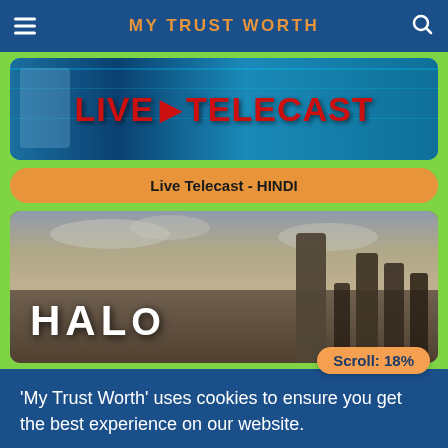MY TRUST WORTH
[Figure (screenshot): Live Telecast banner image with blue background and red text reading LIVE TELECAST]
Live Telecast - HINDI
[Figure (screenshot): HALO TV show promotional image with armored figure and group silhouettes against a cloudy sky]
Scroll: 18%
'My Trust Worth' uses cookies to ensure you get the best experience on our website.
Okay!